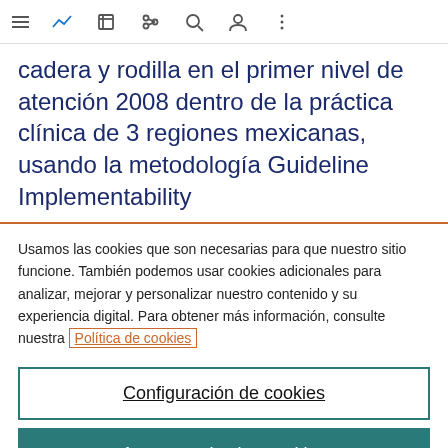[toolbar with navigation icons]
cadera y rodilla en el primer nivel de atención 2008 dentro de la práctica clínica de 3 regiones mexicanas, usando la metodología Guideline Implementability
Usamos las cookies que son necesarias para que nuestro sitio funcione. También podemos usar cookies adicionales para analizar, mejorar y personalizar nuestro contenido y su experiencia digital. Para obtener más información, consulte nuestra Política de cookies
Configuración de cookies
Aceptar todas las cookies